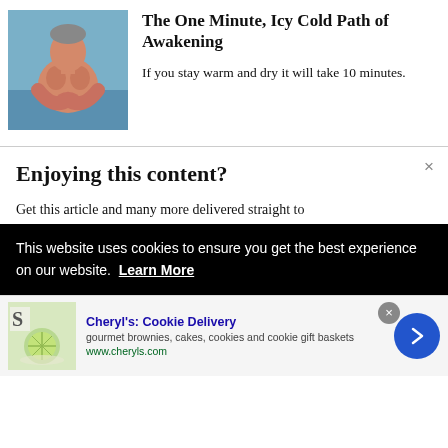[Figure (photo): Shirtless man with hands pressed together in prayer pose, viewed from front, outdoors near water]
The One Minute, Icy Cold Path of Awakening
If you stay warm and dry it will take 10 minutes.
Enjoying this content?
Get this article and many more delivered straight to
This website uses cookies to ensure you get the best experience on our website.  Learn More
Cheryl's: Cookie Delivery
gourmet brownies, cakes, cookies and cookie gift baskets
www.cheryls.com